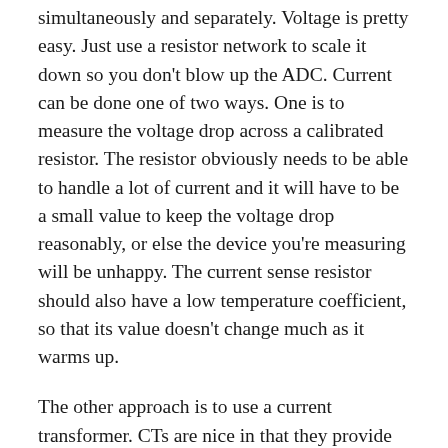simultaneously and separately. Voltage is pretty easy. Just use a resistor network to scale it down so you don't blow up the ADC. Current can be done one of two ways. One is to measure the voltage drop across a calibrated resistor. The resistor obviously needs to be able to handle a lot of current and it will have to be a small value to keep the voltage drop reasonably, or else the device you're measuring will be unhappy. The current sense resistor should also have a low temperature coefficient, so that its value doesn't change much as it warms up.
The other approach is to use a current transformer. CTs are nice in that they provide isolation, but they are large and cost a few bucks compared to the few pennies for the resistors. I did an iteration with space for a CT on the board, but later punted on that. I did leave a place where an external CT can be plugged into the board. I may never use it, though.